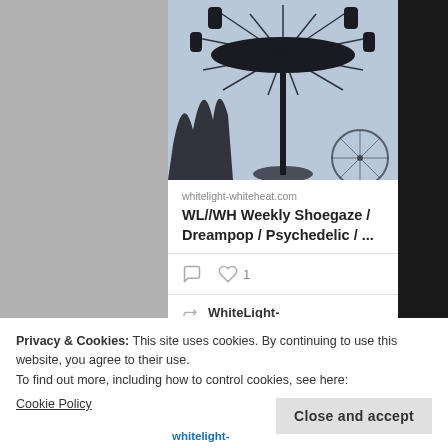[Figure (screenshot): Screenshot of a social media feed showing a carousel/swing ride photo and link preview for whitelight-whiteheat.com with WL/WH Weekly Shoegaze / Dreampop / Psychedelic post, retweet by WhiteLight-WhiteHeat, and a cookie consent banner at the bottom.]
whitelight-whiteheat.com
WL//WH Weekly Shoegaze / Dreampop / Psychedelic / ...
1
WhiteLight-WhiteHeat ...
Privacy & Cookies: This site uses cookies. By continuing to use this website, you agree to their use.
To find out more, including how to control cookies, see here:
Cookie Policy
Close and accept
whitelight-